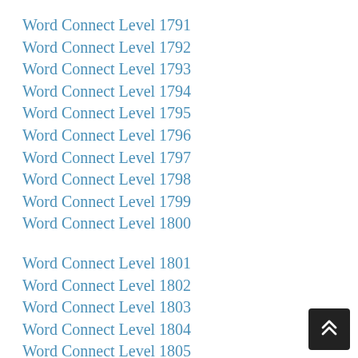Word Connect Level 1791
Word Connect Level 1792
Word Connect Level 1793
Word Connect Level 1794
Word Connect Level 1795
Word Connect Level 1796
Word Connect Level 1797
Word Connect Level 1798
Word Connect Level 1799
Word Connect Level 1800
Word Connect Level 1801
Word Connect Level 1802
Word Connect Level 1803
Word Connect Level 1804
Word Connect Level 1805
Word Connect Level 1806
Word Connect Level 1807
Word Connect Level 1808